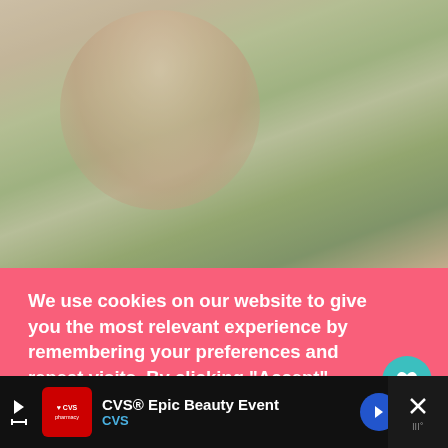[Figure (photo): Woman sitting at table with healthy food, plants and drinks in background]
We use cookies on our website to give you the most relevant experience by remembering your preferences and repeat visits. By clicking “Accept”, you consent to the use of ALL the cookies.
Cookie settings
ACCEPT
Health
We already know that plants are important in our survival, from food, construction materials, and medicine to
[Figure (infographic): WHAT'S NEXT arrow widget: This App Helps Plan a...]
[Figure (infographic): CVS Epic Beauty Event advertisement banner with CVS pharmacy logo and navigation arrow]